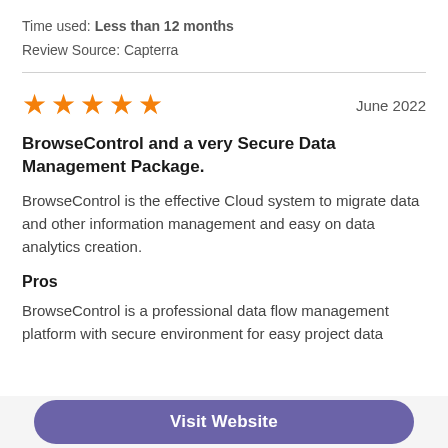Time used: Less than 12 months
Review Source: Capterra
★★★★★   June 2022
BrowseControl and a very Secure Data Management Package.
BrowseControl is the effective Cloud system to migrate data and other information management and easy on data analytics creation.
Pros
BrowseControl is a professional data flow management platform with secure environment for easy project data
Visit Website